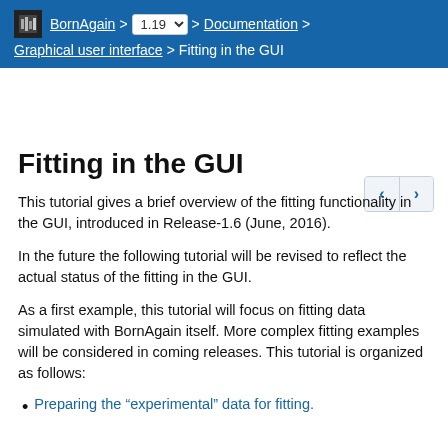BornAgain > 1.19 > Documentation > Graphical user interface > Fitting in the GUI
Fitting in the GUI
This tutorial gives a brief overview of the fitting functionality in the GUI, introduced in Release-1.6 (June, 2016).
In the future the following tutorial will be revised to reflect the actual status of the fitting in the GUI.
As a first example, this tutorial will focus on fitting data simulated with BornAgain itself. More complex fitting examples will be considered in coming releases. This tutorial is organized as follows:
Preparing the “experimental” data for fitting.